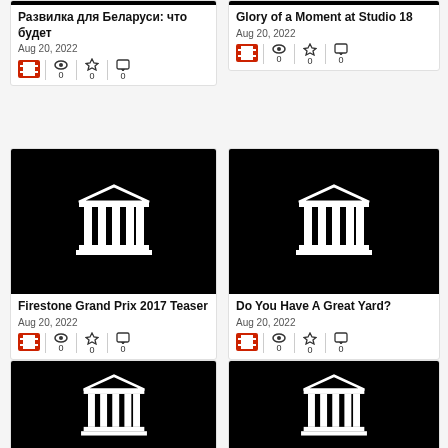[Figure (screenshot): Grid of video/media cards, two columns, showing thumbnails with temple logo on black background, titles, dates, and stats]
Развилка для Беларуси: что будет
Aug 20, 2022
Glory of a Moment at Studio 18
Aug 20, 2022
Firestone Grand Prix 2017 Teaser
Aug 20, 2022
Do You Have A Great Yard?
Aug 20, 2022